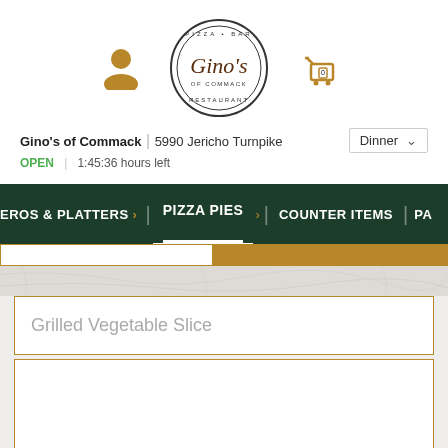[Figure (logo): Gino's Pizza Bar Restaurant of Commack circular logo with script font]
Gino's of Commack | 5990 Jericho Turnpike
OPEN | 1:45:36 hours left
Dinner
EROS & PLATTERS > | PIZZA PIES > | COUNTER ITEMS | PA
Grilled Vegetable Slice